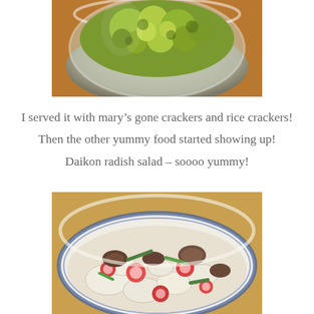[Figure (photo): A glass bowl filled with a chunky green guacamole or broccoli-based spread, viewed from above, sitting on a warm-toned surface.]
I served it with mary’s gone crackers and rice crackers!
Then the other yummy food started showing up!
Daikon radish salad – soooo yummy!
[Figure (photo): A white bowl with a blue decorative rim containing a daikon radish salad with sliced radishes, mushrooms, and green onions.]